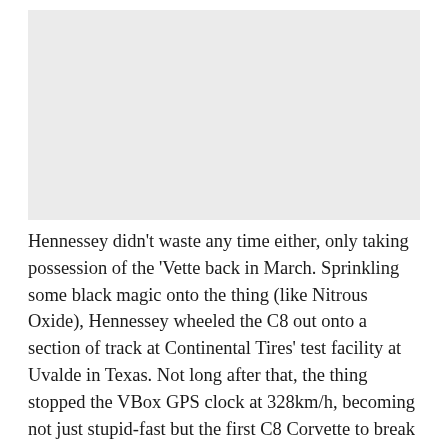[Figure (photo): Photograph placeholder — light gray rectangle representing an image of a vehicle or related subject]
Hennessey didn't waste any time either, only taking possession of the 'Vette back in March. Sprinkling some black magic onto the thing (like Nitrous Oxide), Hennessey wheeled the C8 out onto a section of track at Continental Tires' test facility at Uvalde in Texas. Not long after that, the thing stopped the VBox GPS clock at 328km/h, becoming not just stupid-fast but the first C8 Corvette to break 320km/h.